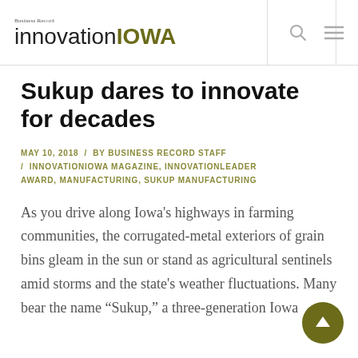Business Record innovation IOWA
Sukup dares to innovate for decades
MAY 10, 2018 / BY BUSINESS RECORD STAFF / INNOVATIONIOWA MAGAZINE, INNOVATIONLEADER AWARD, MANUFACTURING, SUKUP MANUFACTURING
As you drive along Iowa's highways in farming communities, the corrugated-metal exteriors of grain bins gleam in the sun or stand as agricultural sentinels amid storms and the state's weather fluctuations. Many bear the name “Sukup,” a three-generation Iowa